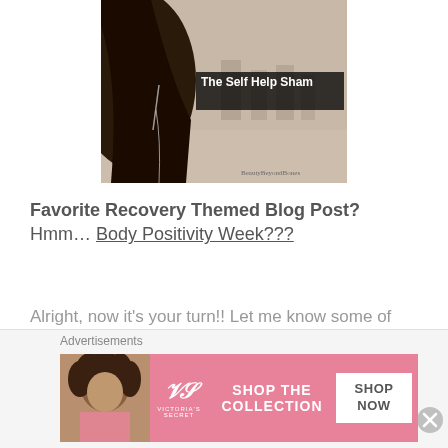[Figure (photo): Black and white/sepia-toned photo of a woman with long dark hair in an urban setting, with text overlay 'The Self Help Sham' and watermark 'BeautyBeyondBones']
Favorite Recovery Themed Blog Post? Hmm... Body Positivity Week???
Alright, now it's your turn!! Let me know some of your favorites!
[Figure (screenshot): Victoria's Secret advertisement banner: woman with curly hair on left, pink background with VS logo, text 'SHOP THE COLLECTION', white button 'SHOP NOW']